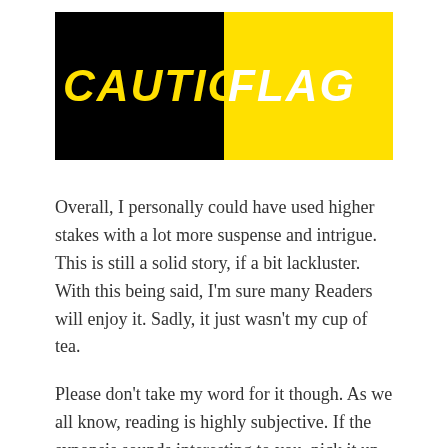[Figure (logo): Caution Flag book cover logo — left half black background with yellow italic bold text 'CAUTIO', right half yellow background with white italic bold text 'FLAG']
Overall, I personally could have used higher stakes with a lot more suspense and intrigue. This is still a solid story, if a bit lackluster. With this being said, I'm sure many Readers will enjoy it. Sadly, it just wasn't my cup of tea.
Please don't take my word for it though. As we all know, reading is highly subjective. If the synopsis sounds interesting to you, pick it up and give it a go!